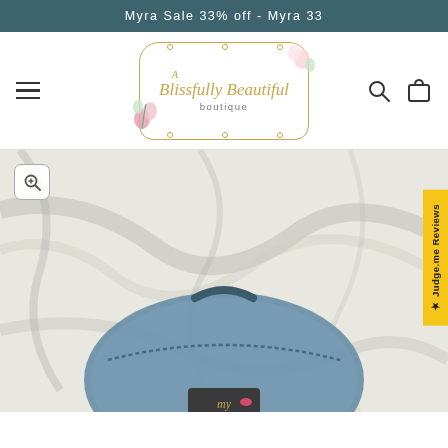Myra Sale 33% off - Myra 33
[Figure (logo): A Blissfully Beautiful boutique logo with floral decorations and gold script text inside a decorative frame]
[Figure (photo): A blue-grey velvet/leather small backpack with a Myra brand tag, photographed on a white marble background]